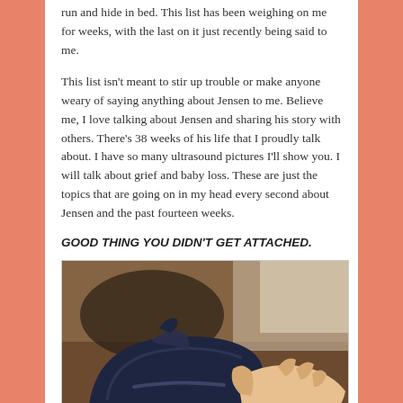run and hide in bed. This list has been weighing on me for weeks, with the last on it just recently being said to me.
This list isn't meant to stir up trouble or make anyone weary of saying anything about Jensen to me. Believe me, I love talking about Jensen and sharing his story with others. There's 38 weeks of his life that I proudly talk about. I have so many ultrasound pictures I'll show you. I will talk about grief and baby loss. These are just the topics that are going on in my head every second about Jensen and the past fourteen weeks.
GOOD THING YOU DIDN'T GET ATTACHED.
[Figure (photo): A close-up photo of a small baby shoe (navy/dark blue sneaker) being held by an adult hand, with a blurred wooden background.]